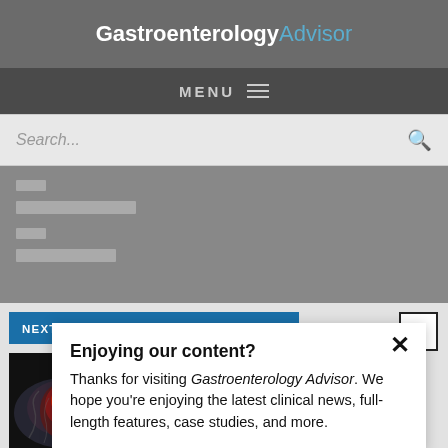GastroenterologyAdvisor
MENU ≡
Search...
Enjoying our content?
Thanks for visiting Gastroenterology Advisor. We hope you're enjoying the latest clinical news, full-length features, case studies, and more.
NEXT POST IN ANORECTAL DISORDERS
[Figure (photo): Medical illustration of rectal anatomy in red/dark tones]
Galunisertib May Improve Upon Chemoradiotherapy in Rectal Cancer
LOGIN
REGISTER